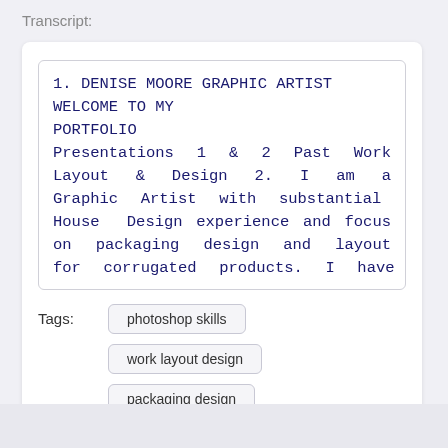Transcript:
1. DENISE MOORE GRAPHIC ARTIST WELCOME TO MY PORTFOLIO Presentations 1 & 2 Past Work Layout & Design 2. I am a Graphic Artist with substantial In-House Design experience and focus on packaging design and layout for corrugated products. I have an extensive
Tags:
photoshop skills
work layout design
packaging design
REPORT
DOWNLOAD